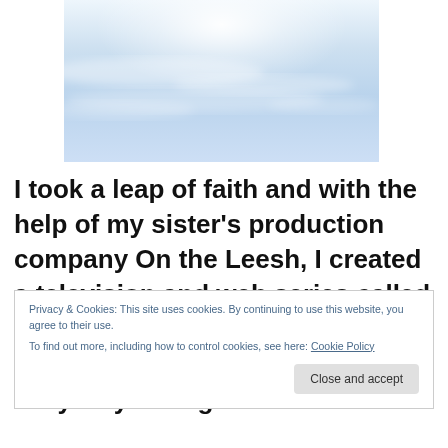[Figure (photo): Sky photo showing light blue sky with soft white clouds and bright light near the top center]
I took a leap of faith and with the help of my sister's production company On the Leesh, I created a television and web series called What You Can Do. In one minute episodes, the series spotlights easy ways to fight social
Privacy & Cookies: This site uses cookies. By continuing to use this website, you agree to their use.
To find out more, including how to control cookies, see here: Cookie Policy
Close and accept